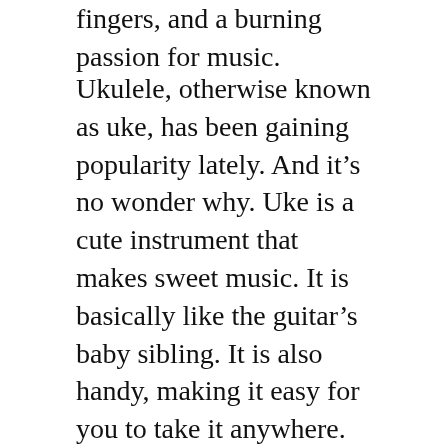fingers, and a burning passion for music.
Ukulele, otherwise known as uke, has been gaining popularity lately. And it’s no wonder why. Uke is a cute instrument that makes sweet music. It is basically like the guitar’s baby sibling. It is also handy, making it easy for you to take it anywhere. Just like the guitar, it also easy to play. One could actually make a million songs with just one chord.